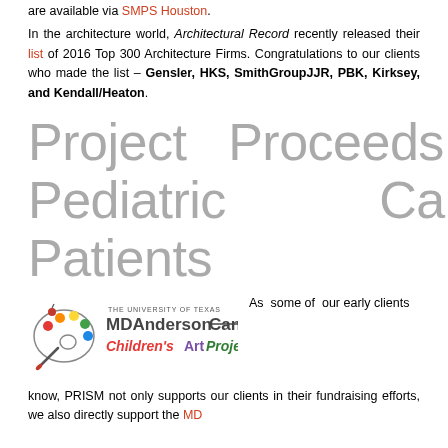are available via SMPS Houston.
In the architecture world, Architectural Record recently released their list of 2016 Top 300 Architecture Firms. Congratulations to our clients who made the list – Gensler, HKS, SmithGroupJJR, PBK, Kirksey, and Kendall/Heaton.
Project Proceeds for Pediatric Cancer Patients
[Figure (logo): The University of Texas MD Anderson Cancer Center Children's Art Project logo]
As some of our early clients know, PRISM not only supports our clients in their fundraising efforts, we also directly support the MD